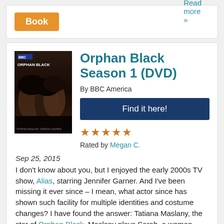Book
Read more »
Orphan Black Season 1 (DVD)
By BBC America
Find it here!
Rated by Megan C.
Sep 25, 2015
I don't know about you, but I enjoyed the early 2000s TV show, Alias, starring Jennifer Garner. And I've been missing it ever since – I mean, what actor since has shown such facility for multiple identities and costume changes? I have found the answer: Tatiana Maslany, the star of Orphan Black. Maslany plays Sarah, a woman thrown into